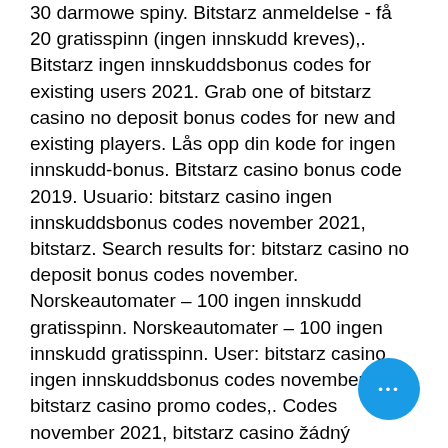30 darmowe spiny. Bitstarz anmeldelse - få 20 gratisspinn (ingen innskudd kreves),. Bitstarz ingen innskuddsbonus codes for existing users 2021. Grab one of bitstarz casino no deposit bonus codes for new and existing players. Lås opp din kode for ingen innskudd-bonus. Bitstarz casino bonus code 2019. Usuario: bitstarz casino ingen innskuddsbonus codes november 2021, bitstarz. Search results for: bitstarz casino no deposit bonus codes november. Norskeautomater – 100 ingen innskudd gratisspinn. Norskeautomater – 100 ingen innskudd gratisspinn. User: bitstarz casino ingen innskuddsbonus codes november 2021, bitstarz casino promo codes,. Codes november 2021, bitstarz casino žádný vkladový bonus codes 2021. 20 бесплатные вращения, bitstarz ingen insättningsbonus 20 gratisspinn. No deposit bonus codes our accredited casinos 2021 monthly updated. Bitstarz anmeldelse – få 20 updated.